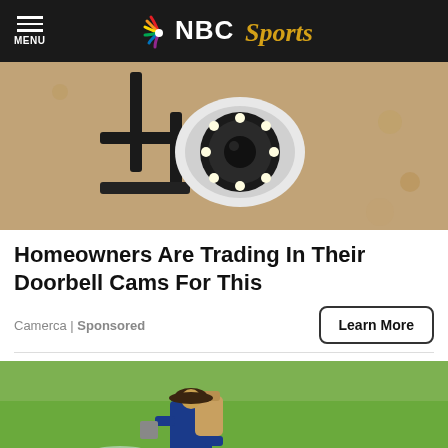NBC Sports
[Figure (photo): Close-up of a security camera mounted on a wall, black bracket with circular lens and LED lights]
Homeowners Are Trading In Their Doorbell Cams For This
Camerca | Sponsored
[Figure (photo): Person wearing hat and mask spraying pesticide on a green rice field, carrying a tank sprayer on their back]